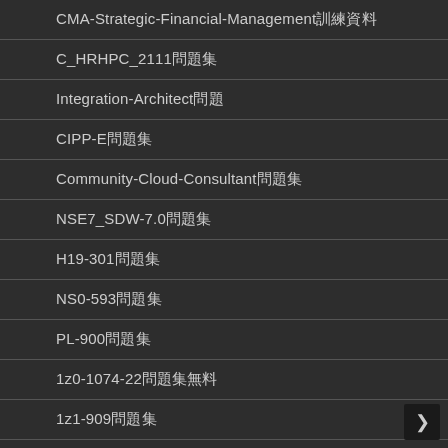CMA-Strategic-Financial-Management訓練資料
C_HRHPC_2111問題集
Integration-Architect問題
CIPP-E問題集
Community-Cloud-Consultant問題集
NSE7_SDW-7.0問題集
H19-301問題集
NS0-593問題集
PL-900問題集
1z0-1074-22問題集無料
1z1-909問題集